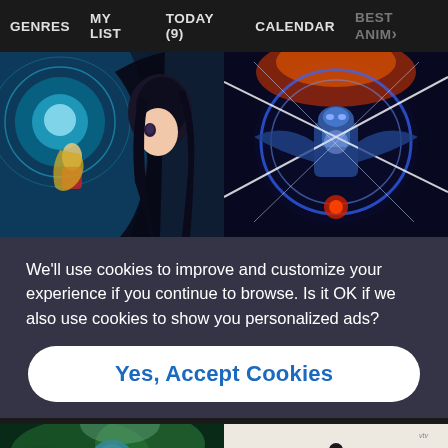GENRES  MY LIST  TODAY (9)  CALENDAR  BEST ANIM>
[Figure (screenshot): Two anime thumbnail images side by side: left shows anime girl characters with blue/teal background, right shows a sci-fi mecha/robot with blue energy and red/orange flames]
We’ll use cookies to improve and customize your experience if you continue to browse. Is it OK if we also use cookies to show you personalized ads?
Yes, Accept Cookies
[Figure (screenshot): Two anime thumbnail images side by side: left shows anime character with green/teal background, right shows Gunslinger Girl title card on light background]